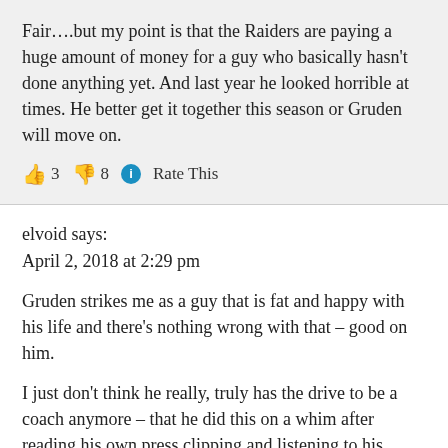Fair….but my point is that the Raiders are paying a huge amount of money for a guy who basically hasn't done anything yet. And last year he looked horrible at times. He better get it together this season or Gruden will move on.
👍 3 👎 8 ℹ️ Rate This
elvoid says:
April 2, 2018 at 2:29 pm
Gruden strikes me as a guy that is fat and happy with his life and there's nothing wrong with that – good on him.
I just don't think he really, truly has the drive to be a coach anymore – that he did this on a whim after reading his own press clipping and listening to his agents. He'll be missing the comfort and safety of the broadcast booth sooner than later.
I'm betting he reaches a point where he says "why am I doing this to myself?" and I'd put the under/over at three years.